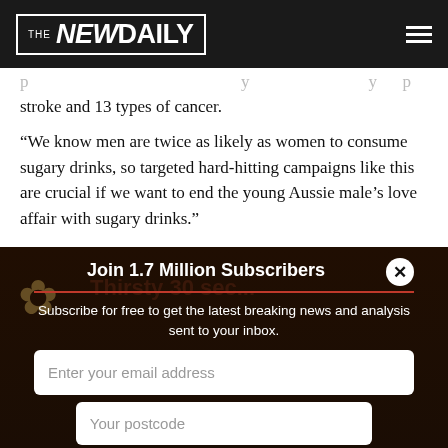The New Daily
stroke and 13 types of cancer.
“We know men are twice as likely as women to consume sugary drinks, so targeted hard-hitting campaigns like this are crucial if we want to end the young Aussie male’s love affair with sugary drinks.”
Join 1.7 Million Subscribers
Subscribe for free to get the latest breaking news and analysis sent to your inbox.
Enter your email address
Your postcode
Subscribe